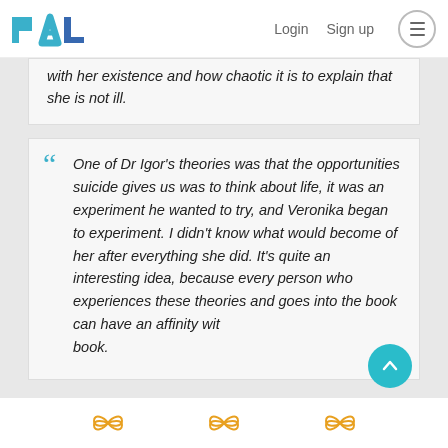PAL  Login  Sign up
with her existence and how chaotic it is to explain that she is not ill.
One of Dr Igor's theories was that the opportunities suicide gives us was to think about life, it was an experiment he wanted to try, and Veronika began to experiment. I didn't know what would become of her after everything she did. It's quite an interesting idea, because every person who experiences these theories and goes into the book can have an affinity with a book.